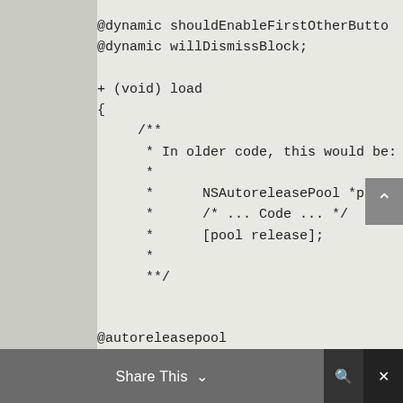@dynamic shouldEnableFirstOtherButton;
@dynamic willDismissBlock;

+ (void) load
{
     /**
      * In older code, this would be:
      *
      *      NSAutoreleasePool *pool =
      *      /* ... Code ... */
      *      [pool release];
      *
      **/
@autoreleasepool
Share This